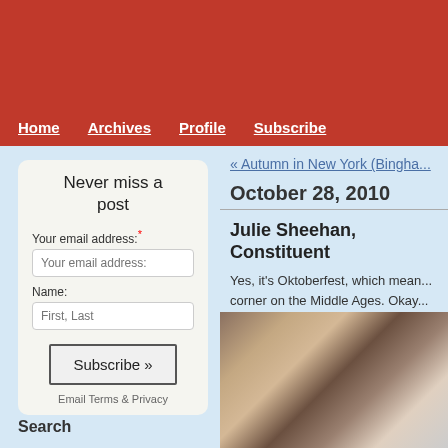Home  Archives  Profile  Subscribe
« Autumn in New York (Bingha...
October 28, 2010
Julie Sheehan, Constituent
Yes, it's Oktoberfest, which mean... corner on the Middle Ages. Okay...
Never miss a post
Your email address: *
Name:
Subscribe »
Email Terms & Privacy
Search
[Figure (photo): Oktoberfest scene showing a woman in traditional attire laughing and carrying beer steins]